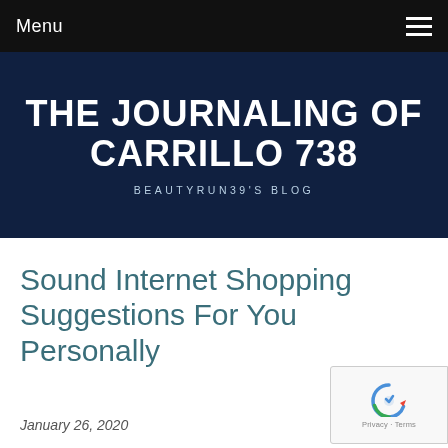Menu
THE JOURNALING OF CARRILLO 738
BEAUTYRUN39'S BLOG
Sound Internet Shopping Suggestions For You Personally
January 26, 2020